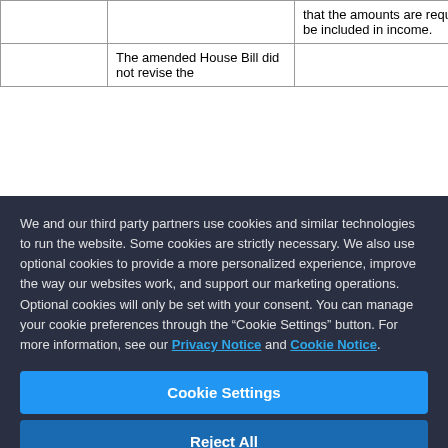|  |  | that the amounts are required to be included in income. |
|  | The amended House Bill did not revise the |  |
We and our third party partners use cookies and similar technologies to run the website. Some cookies are strictly necessary. We also use optional cookies to provide a more personalized experience, improve the way our websites work, and support our marketing operations. Optional cookies will only be set with your consent. You can manage your cookie preferences through the “Cookie Settings” button. For more information, see our Privacy Notice and Cookie Notice.